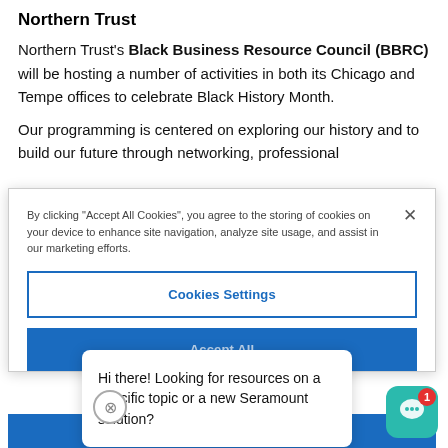Northern Trust
Northern Trust's Black Business Resource Council (BBRC) will be hosting a number of activities in both its Chicago and Tempe offices to celebrate Black History Month.
Our programming is centered on exploring our history and to build our future through networking, professional
By clicking "Accept All Cookies", you agree to the storing of cookies on your device to enhance site navigation, analyze site usage, and assist in our marketing efforts.
Cookies Settings
Accept All
Hi there! Looking for resources on a specific topic or a new Seramount solution?